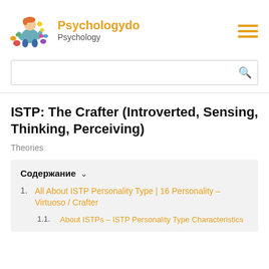Psychologydo / Psychology
ISTP: The Crafter (Introverted, Sensing, Thinking, Perceiving)
Theories
Содержание
1. All About ISTP Personality Type | 16 Personality – Virtuoso / Crafter
1.1. About ISTPs – ISTP Personality Type Characteristics